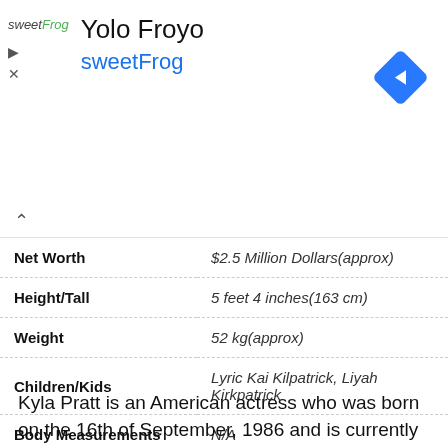[Figure (screenshot): sweetFrog ad banner with logo, 'Yolo Froyo' title, 'sweetFrog' subtitle, and navigation arrow icon]
| Attribute | Value |
| --- | --- |
| Net Worth | $2.5 Million Dollars(approx) |
| Height/Tall | 5 feet 4 inches(163 cm) |
| Weight | 52 kg(approx) |
| Children/Kids | Lyric Kai Kilpatrick, Liyah Kirkpatrick |
| Body Measurements | N/A |
Kyla Pratt is an American actress who was born on the 16th of September, 1986 and is currently 30 years of age.